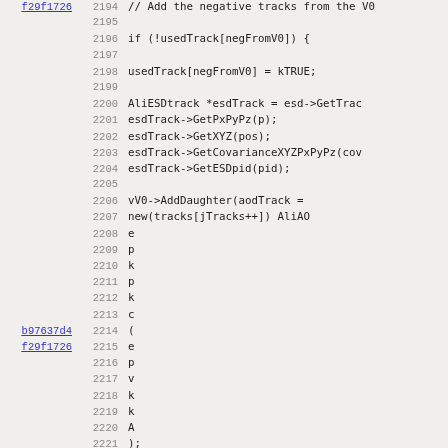Source code listing lines 2194-2226, showing C++ code for adding negative tracks from V0
2194: // Add the negative tracks from the V0
2195: (blank)
2196:         if (!usedTrack[negFromV0]) {
2197: (blank)
2198:             usedTrack[negFromV0] = kTRUE;
2199: (blank)
2200:             AliESDtrack *esdTrack = esd->GetTrac
2201:             esdTrack->GetPxPyPz(p);
2202:             esdTrack->GetXYZ(pos);
2203:             esdTrack->GetCovarianceXYZPxPyPz(cov
2204:             esdTrack->GetESDpid(pid);
2205: (blank)
2206:             vV0->AddDaughter(aodTrack =
2207:                     new(tracks[jTracks++]) AliAO
2208:                                                  e
2209:                                                  p
2210:                                                  k
2211:                                                  p
2212:                                                  k
2213:                                                  c
2214:                                                  (
2215:                                                  e
2216:                                                  p
2217:                                                  v
2218:                                                  k
2219:                                                  k
2220:                                                  A
2221:                     );
2222:             aodTrack->ConvertAliPIDtoAODPID();
2223:         }
2224:         else {
2225:             cerr << "Error: event " << iEvent <<
2226:                 << "_track_" << negFromV0 <<